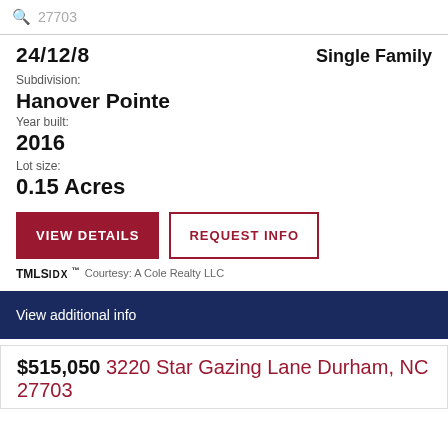27703
24/12/8   Single Family
Subdivision:
Hanover Pointe
Year built:
2016
Lot size:
0.15 Acres
VIEW DETAILS   REQUEST INFO
TMLS IDX ™   Courtesy: A Cole Realty LLC
View additional info
$515,050  3220 Star Gazing Lane Durham, NC 27703